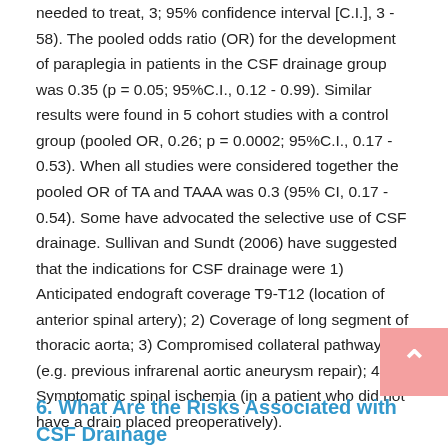needed to treat, 3; 95% confidence interval [C.I.], 3 - 58). The pooled odds ratio (OR) for the development of paraplegia in patients in the CSF drainage group was 0.35 (p = 0.05; 95%C.I., 0.12 - 0.99). Similar results were found in 5 cohort studies with a control group (pooled OR, 0.26; p = 0.0002; 95%C.I., 0.17 - 0.53). When all studies were considered together the pooled OR of TA and TAAA was 0.3 (95% CI, 0.17 - 0.54). Some have advocated the selective use of CSF drainage. Sullivan and Sundt (2006) have suggested that the indications for CSF drainage were 1) Anticipated endograft coverage T9-T12 (location of anterior spinal artery); 2) Coverage of long segment of thoracic aorta; 3) Compromised collateral pathway (e.g. previous infrarenal aortic aneurysm repair); 4) Symptomatic spinal ischemia (in a patient who did not have a drain placed preoperatively).
6. What Are the Risks Associated with CSF Drainage